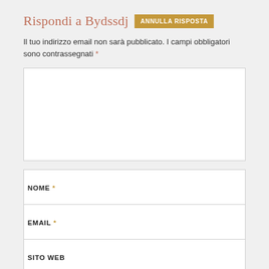Rispondi a Bydssdj  ANNULLA RISPOSTA
Il tuo indirizzo email non sarà pubblicato. I campi obbligatori sono contrassegnati *
[Figure (other): Large empty comment textarea input field]
NOME *
EMAIL *
SITO WEB
INVIA COMMENTO